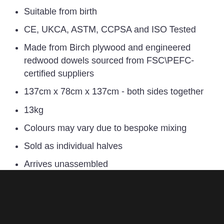Suitable from birth
CE, UKCA, ASTM, CCPSA and ISO Tested
Made from Birch plywood and engineered redwood dowels sourced from FSC\PEFC-certified suppliers
137cm x 78cm x 137cm - both sides together
13kg
Colours may vary due to bespoke mixing
Sold as individual halves
Arrives unassembled
SHARE